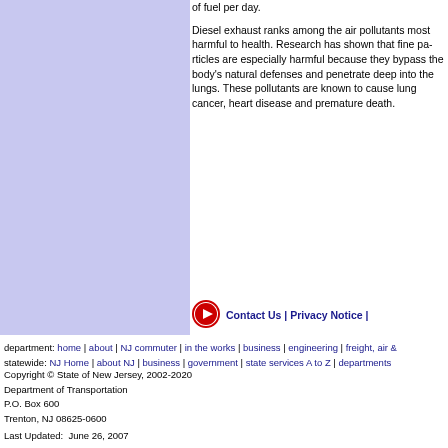of fuel per day.
Diesel exhaust ranks among the air pollutants most harmful to health. Research has shown that fine particles are especially harmful because they bypass the body's natural defenses and penetrate deep into the lungs. These pollutants are known to cause lung cancer, heart disease and premature death.
[Figure (logo): Red circular arrow icon with blue text Contact Us | Privacy Notice |]
department: home | about | NJ commuter | in the works | business | engineering | freight, air &
statewide: NJ Home | about NJ | business | government | state services A to Z | departments
Copyright © State of New Jersey, 2002-2020
Department of Transportation
P.O. Box 600
Trenton, NJ 08625-0600
Last Updated:  June 26, 2007